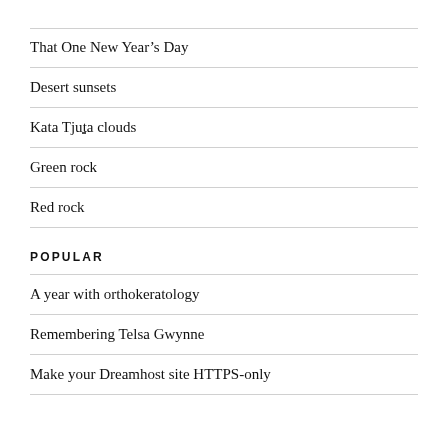That One New Year's Day
Desert sunsets
Kata Tjuta clouds
Green rock
Red rock
POPULAR
A year with orthokeratology
Remembering Telsa Gwynne
Make your Dreamhost site HTTPS-only